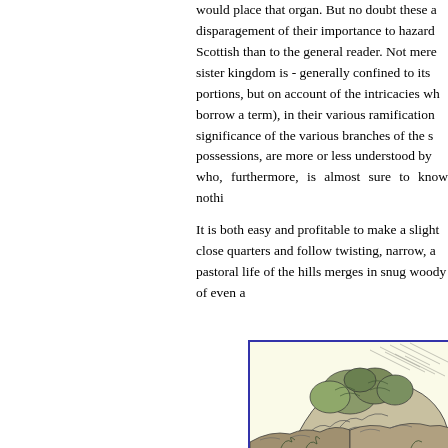would place that organ. But no doubt these a disparagement of their importance to hazard Scottish than to the general reader. Not mere sister kingdom is - generally confined to its portions, but on account of the intricacies wh borrow a term), in their various ramification significance of the various branches of the s possessions, are more or less understood by who, furthermore, is almost sure to know nothi
It is both easy and profitable to make a slight close quarters and follow twisting, narrow, a pastoral life of the hills merges in snug woody of even a
[Figure (illustration): A pen-and-ink sketch of rocky terrain with foliage and trees, drawn in a naturalistic style with hatching lines suggesting texture and shadow.]